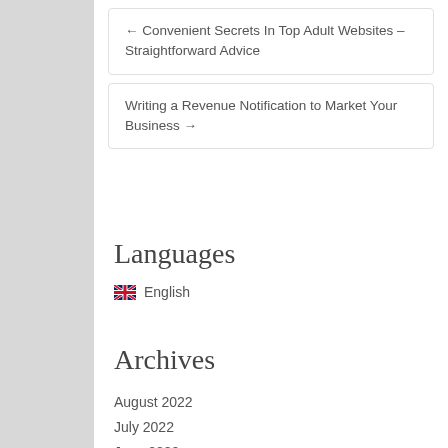← Convenient Secrets In Top Adult Websites – Straightforward Advice
Writing a Revenue Notification to Market Your Business →
Languages
English
Archives
August 2022
July 2022
June 2022
May 2022
April 2022
March 2022
February 2022